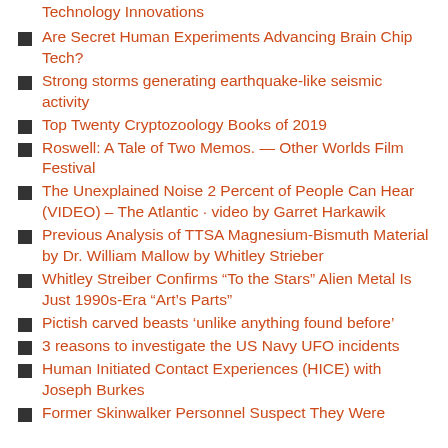Technology Innovations
Are Secret Human Experiments Advancing Brain Chip Tech?
Strong storms generating earthquake-like seismic activity
Top Twenty Cryptozoology Books of 2019
Roswell: A Tale of Two Memos. — Other Worlds Film Festival
The Unexplained Noise 2 Percent of People Can Hear (VIDEO) – The Atlantic · video by Garret Harkawik
Previous Analysis of TTSA Magnesium-Bismuth Material by Dr. William Mallow by Whitley Strieber
Whitley Streiber Confirms “To the Stars” Alien Metal Is Just 1990s-Era “Art’s Parts”
Pictish carved beasts ‘unlike anything found before’
3 reasons to investigate the US Navy UFO incidents
Human Initiated Contact Experiences (HICE) with Joseph Burkes
Former Skinwalker Personnel Suspect They Were